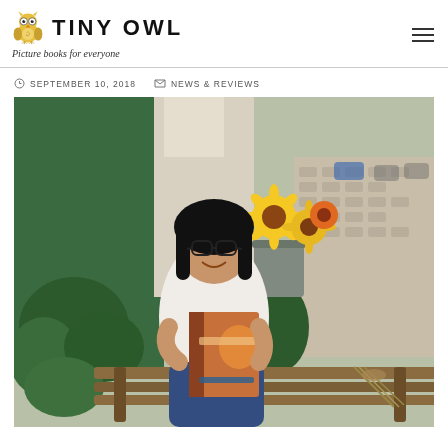TINY OWL — Picture books for everyone
SEPTEMBER 10, 2018   NEWS & REVIEWS
[Figure (photo): A smiling young woman with glasses sitting on a wooden bench outdoors, holding a picture book. There are sunflowers in a bucket behind her and green plants around. A cobblestone street is visible in the background.]